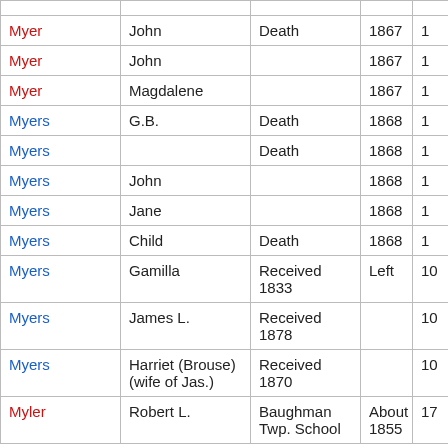| Last Name | First Name | Event/Notes | Year | Num |
| --- | --- | --- | --- | --- |
| Myer | John | Death | 1867 | 1 |
| Myer | John |  | 1867 | 1 |
| Myer | Magdalene |  | 1867 | 1 |
| Myers | G.B. | Death | 1868 | 1 |
| Myers |  | Death | 1868 | 1 |
| Myers | John |  | 1868 | 1 |
| Myers | Jane |  | 1868 | 1 |
| Myers | Child | Death | 1868 | 1 |
| Myers | Gamilla | Received 1833 | Left | 10 |
| Myers | James L. | Received 1878 |  | 10 |
| Myers | Harriet (Brouse) (wife of Jas.) | Received 1870 |  | 10 |
| Myler | Robert L. | Baughman Twp. School | About 1855 | 17 |